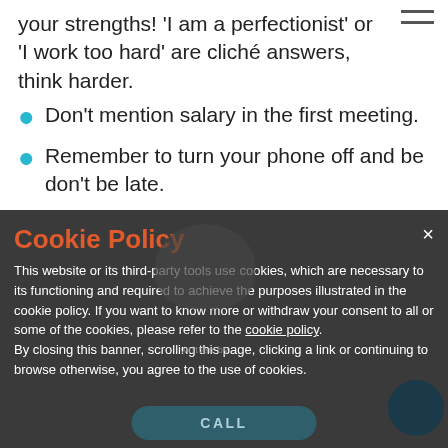your strengths! 'I am a perfectionist' or 'I work too hard' are cliché answers, think harder.
Don't mention salary in the first meeting.
Remember to turn your phone off and be don't be late.
Cookie Policy
This website or its third-party tools use cookies, which are necessary to its functioning and required to achieve the purposes illustrated in the cookie policy. If you want to know more or withdraw your consent to all or some of the cookies, please refer to the cookie policy. By closing this banner, scrolling this page, clicking a link or continuing to browse otherwise, you agree to the use of cookies.